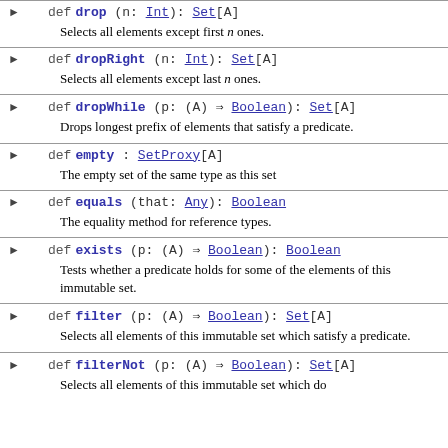def drop (n: Int): Set[A] — Selects all elements except first n ones.
def dropRight (n: Int): Set[A] — Selects all elements except last n ones.
def dropWhile (p: (A) ⇒ Boolean): Set[A] — Drops longest prefix of elements that satisfy a predicate.
def empty : SetProxy[A] — The empty set of the same type as this set
def equals (that: Any): Boolean — The equality method for reference types.
def exists (p: (A) ⇒ Boolean): Boolean — Tests whether a predicate holds for some of the elements of this immutable set.
def filter (p: (A) ⇒ Boolean): Set[A] — Selects all elements of this immutable set which satisfy a predicate.
def filterNot (p: (A) ⇒ Boolean): Set[A] — Selects all elements of this immutable set which do